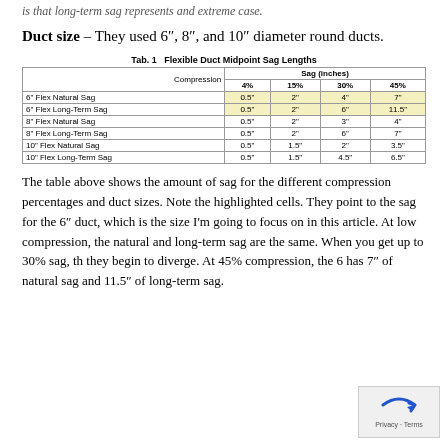is that long-term sag represents and extreme case.
Duct size – They used 6", 8", and 10" diameter round ducts.
Tab. 1  Flexible Duct Midpoint Sag Lengths
|  | Compression | 4% | 15% | 30% | 45% |
| --- | --- | --- | --- | --- | --- |
| 6" Flex Natural Sag |  | 0.5" | 2" | 4" | 7" |
| 6" Flex Long-Term Sag |  | 0.5" | 2" | 6" | 11.5" |
| 8" Flex Natural Sag |  | 0.5" | 2" | 3" | 4" |
| 8" Flex Long-Term Sag |  | 0.5" | 2" | 6" | 7" |
| 10" Flex Natural Sag |  | 0.5" | 1.5" | 2" | 3.5" |
| 10" Flex Long-Term Sag |  | 0.5" | 1.5" | 4.5" | 6.5" |
The table above shows the amount of sag for the different compression percentages and duct sizes. Note the highlighted cells. They point to the sag for the 6" duct, which is the size I'm going to focus on in this article. At low compression, the natural and long-term sag are the same. When you get up to 30% sag, they begin to diverge. At 45% compression, the 6" has 7" of natural sag and 11.5" of long-term sag.